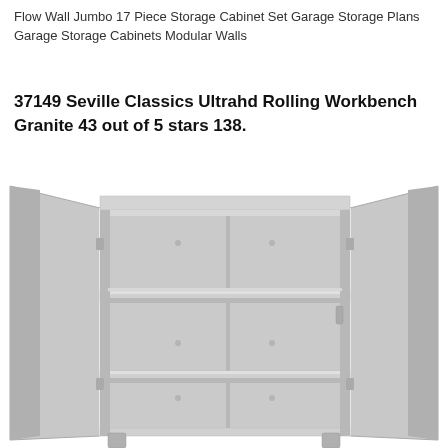Flow Wall Jumbo 17 Piece Storage Cabinet Set Garage Storage Plans Garage Storage Cabinets Modular Walls
37149 Seville Classics Ultrahd Rolling Workbench Granite 43 out of 5 stars 138.
[Figure (photo): An open metal storage cabinet with two wide open doors, two interior shelves, and a light gray finish. The cabinet interior shows adjustable shelves and the doors are open wide to either side.]